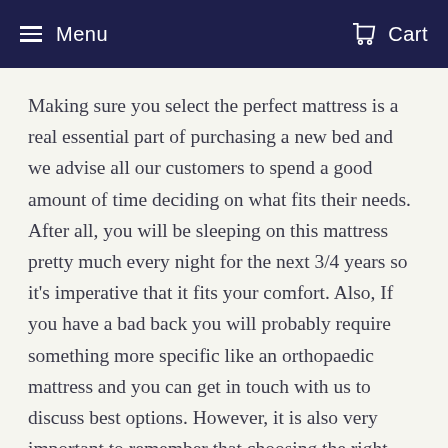Menu  Cart
Making sure you select the perfect mattress is a real essential part of purchasing a new bed and we advise all our customers to spend a good amount of time deciding on what fits their needs. After all, you will be sleeping on this mattress pretty much every night for the next 3/4 years so it's imperative that it fits your comfort. Also, If you have a bad back you will probably require something more specific like an orthopaedic mattress and you can get in touch with us to discuss best options. However, it is also very important to remember that choosing the right bed frame is also pretty essential as your frame and mattress need to work together, you'll also have to be very specific on sizes so as your new bed can fit perfectly into the room of your choice.